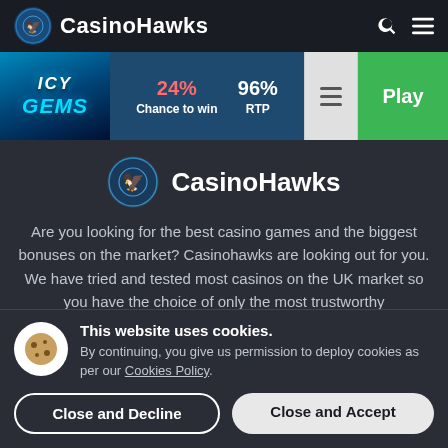CasinoHawks
[Figure (screenshot): Icy Gems game thumbnail with blue icy crystal text on dark blue background]
24% Chance to win | 96% RTP
[Figure (logo): CasinoHawks logo circle with hawk graphic]
CasinoHawks
Are you looking for the best casino games and the biggest bonuses on the market? Casinohawks are looking out for you. We have tried and tested most casinos on the UK market so you have the choice of only the most trustworthy
This website uses cookies. By continuing, you give us permission to deploy cookies as per our Cookies Policy.
Close and Decline | Close and Accept